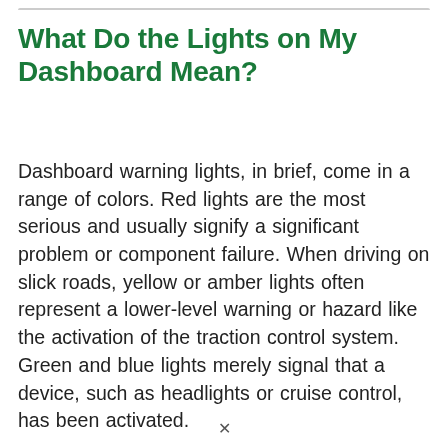What Do the Lights on My Dashboard Mean?
Dashboard warning lights, in brief, come in a range of colors. Red lights are the most serious and usually signify a significant problem or component failure. When driving on slick roads, yellow or amber lights often represent a lower-level warning or hazard like the activation of the traction control system. Green and blue lights merely signal that a device, such as headlights or cruise control, has been activated.